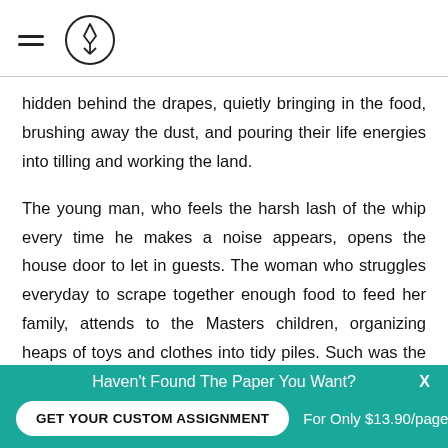hidden behind the drapes, quietly bringing in the food, brushing away the dust, and pouring their life energies into tilling and working the land.
The young man, who feels the harsh lash of the whip every time he makes a noise appears, opens the house door to let in guests. The woman who struggles everyday to scrape together enough food to feed her family, attends to the Masters children, organizing heaps of toys and clothes into tidy piles. Such was the harsh, paradoxical
Haven't Found The Paper You Want? GET YOUR CUSTOM ASSIGNMENT For Only $13.90/page